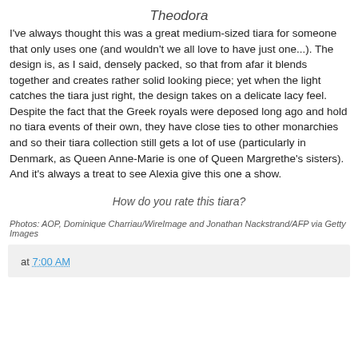Theodora
I've always thought this was a great medium-sized tiara for someone that only uses one (and wouldn't we all love to have just one...). The design is, as I said, densely packed, so that from afar it blends together and creates rather solid looking piece; yet when the light catches the tiara just right, the design takes on a delicate lacy feel. Despite the fact that the Greek royals were deposed long ago and hold no tiara events of their own, they have close ties to other monarchies and so their tiara collection still gets a lot of use (particularly in Denmark, as Queen Anne-Marie is one of Queen Margrethe's sisters). And it's always a treat to see Alexia give this one a show.
How do you rate this tiara?
Photos: AOP, Dominique Charriau/WireImage and Jonathan Nackstrand/AFP via Getty Images
at 7:00 AM